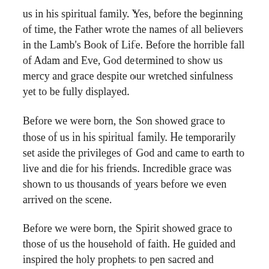us in his spiritual family. Yes, before the beginning of time, the Father wrote the names of all believers in the Lamb's Book of Life. Before the horrible fall of Adam and Eve, God determined to show us mercy and grace despite our wretched sinfulness yet to be fully displayed.
Before we were born, the Son showed grace to those of us in his spiritual family. He temporarily set aside the privileges of God and came to earth to live and die for his friends. Incredible grace was shown to us thousands of years before we even arrived on the scene.
Before we were born, the Spirit showed grace to those of us the household of faith. He guided and inspired the holy prophets to pen sacred and authoritative words. He then providentially led the people of faith in discovering, compiling, and preserving those prophetic writings that